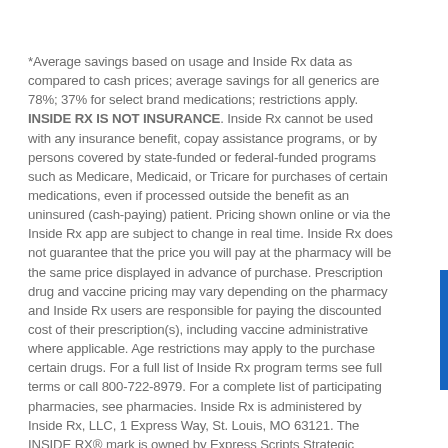*Average savings based on usage and Inside Rx data as compared to cash prices; average savings for all generics are 78%; 37% for select brand medications; restrictions apply. INSIDE RX IS NOT INSURANCE. Inside Rx cannot be used with any insurance benefit, copay assistance programs, or by persons covered by state-funded or federal-funded programs such as Medicare, Medicaid, or Tricare for purchases of certain medications, even if processed outside the benefit as an uninsured (cash-paying) patient. Pricing shown online or via the Inside Rx app are subject to change in real time. Inside Rx does not guarantee that the price you will pay at the pharmacy will be the same price displayed in advance of purchase. Prescription drug and vaccine pricing may vary depending on the pharmacy and Inside Rx users are responsible for paying the discounted cost of their prescription(s), including vaccine administrative where applicable. Age restrictions may apply to the purchase certain drugs. For a full list of Inside Rx program terms see full terms or call 800-722-8979. For a complete list of participating pharmacies, see pharmacies. Inside Rx is administered by Inside Rx, LLC, 1 Express Way, St. Louis, MO 63121. The INSIDE RX® mark is owned by Express Scripts Strategic Development, Inc.